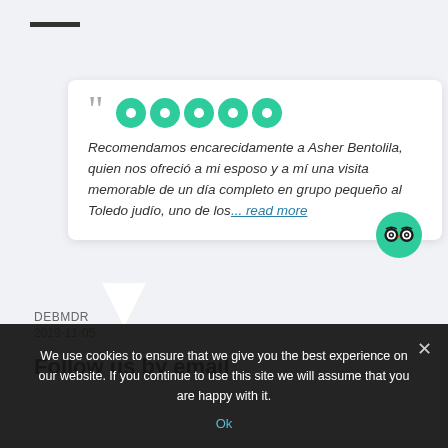[Figure (other): Horizontal black bar/line at top left]
Recomendamos encarecidamente a Asher Bentolila, quien nos ofreció a mi esposo y a mí una visita memorable de un día completo en grupo pequeño al Toledo judío, uno de los... read more
[Figure (logo): TripAdvisor owl logo in green circle]
DEBMDR
2019-11-05
Follow us by email
We use cookies to ensure that we give you the best experience on our website. If you continue to use this site we will assume that you are happy with it.
Ok